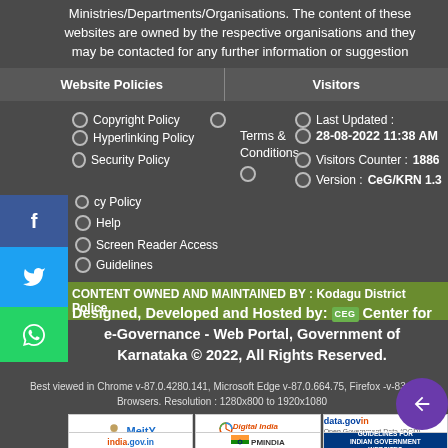Ministries/Departments/Organisations. The content of these websites are owned by the respective organisations and they may be contacted for any further information or suggestion
Website Policies | Visitors
Copyright Policy
Hyperlinking Policy
Security Policy
Terms & Conditions
Last Updated :
28-08-2022 11:38 AM
Visitors Counter : 1886
Version : CeG/KRN 1.3
cy Policy
Help
Screen Reader Access
Guidelines
CONTENT OWNED AND MAINTAINED BY : Kodagu District Police
Designed, Developed and Hosted by: CEG Center for e-Governance - Web Portal, Government of Karnataka © 2022, All Rights Reserved.
Best viewed in Chrome v-87.0.4280.141, Microsoft Edge v-87.0.664.75, Firefox -v-83.0 Browsers. Resolution : 1280x800 to 1920x1080
[Figure (logo): MeitY logo]
[Figure (logo): Digital India logo]
[Figure (logo): data.gov.in logo]
[Figure (logo): india.gov.in logo]
[Figure (logo): PM India logo]
[Figure (logo): Guidelines for Indian Government Websites]